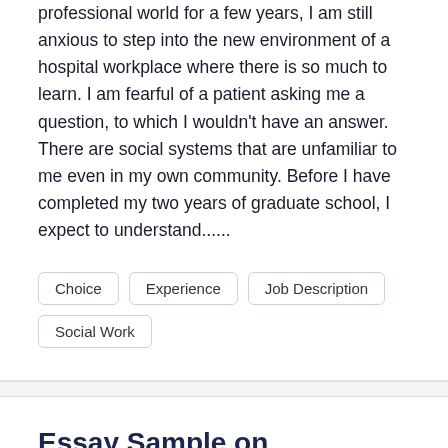professional world for a few years, I am still anxious to step into the new environment of a hospital workplace where there is so much to learn. I am fearful of a patient asking me a question, to which I wouldn't have an answer. There are social systems that are unfamiliar to me even in my own community. Before I have completed my two years of graduate school, I expect to understand......
Choice
Experience
Job Description
Social Work
Essay Sample on Cardinalist and Ordinalist
Words • 1297    Pages • 6